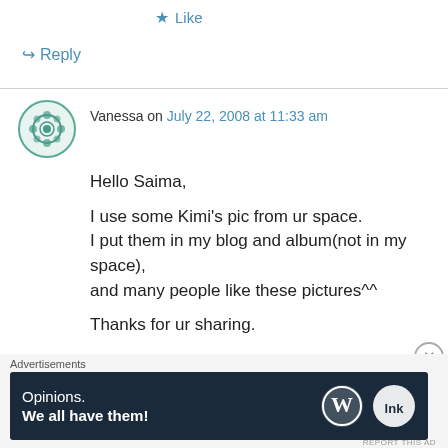★ Like
↪ Reply
Vanessa on July 22, 2008 at 11:33 am
Hello Saima,

I use some Kimi's pic from ur space.
I put them in my blog and album(not in my space),
and many people like these pictures^^


Thanks for ur sharing.
Advertisements
[Figure (screenshot): WordPress advertisement banner: 'Opinions. We all have them!' with WordPress and LinkedIn logos on dark navy background]